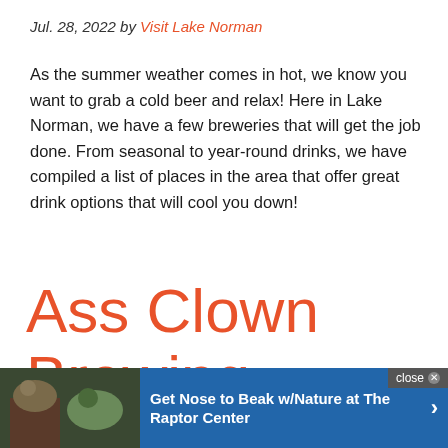Jul. 28, 2022 by Visit Lake Norman
As the summer weather comes in hot, we know you want to grab a cold beer and relax! Here in Lake Norman, we have a few breweries that will get the job done. From seasonal to year-round drinks, we have compiled a list of places in the area that offer great drink options that will cool you down!
Ass Clown Brewing Company
10620 Bailey Rd Cornelius, NC 28031
With o
[Figure (screenshot): Advertisement overlay: 'Get Nose to Beak w/Nature at The Raptor Center' with close button and right arrow]